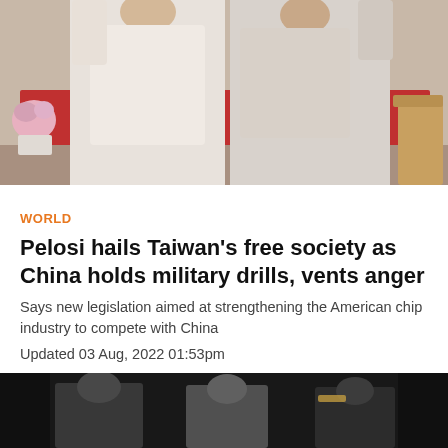[Figure (photo): Two women in formal attire standing and posing, with a red table and flowers in the background]
WORLD
Pelosi hails Taiwan's free society as China holds military drills, vents anger
Says new legislation aimed at strengthening the American chip industry to compete with China
Updated 03 Aug, 2022 01:53pm
[Figure (photo): Group of people in formal attire against a dark background]